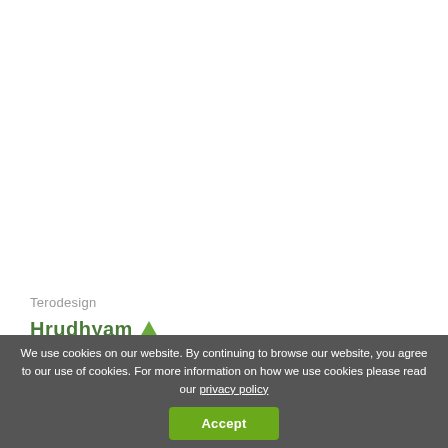Terodesign
[Figure (logo): Hrudhyam logo with green triangle icon]
We use cookies on our website. By continuing to browse our website, you agree to our use of cookies. For more information on how we use cookies please read our privacy policy
Accept